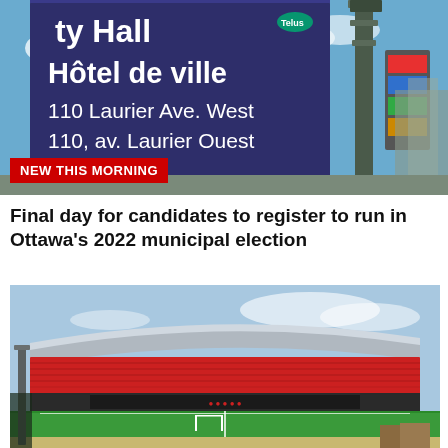[Figure (photo): Outdoor sign for Ottawa City Hall / Hôtel de ville, showing the bilingual text '(City) Hall / Hôtel de ville / 110 Laurier Ave. West / 110, av. Laurier Ouest' on a dark blue/purple billboard. Stadium lights and structures visible in background against blue sky.]
NEW THIS MORNING
Final day for candidates to register to run in Ottawa's 2022 municipal election
[Figure (photo): Wide interior view of a soccer/football stadium with green grass field, white goal post, red seating stands, and partially covered roof under a blue sky.]